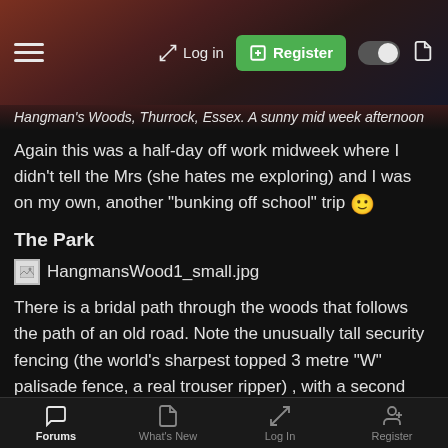Navigation bar with hamburger menu, Log in, Register, theme toggle, and document icon
Hangman's Woods, Thurrock, Essex. A sunny mid week afternoon
Again this was a half-day off work midweek where I didn't tell the Mrs (she hates me exploring) and I was on my own, another "bunking off school" trip 🙂
The Park
[Figure (photo): Broken image placeholder showing HangmansWood1_small.jpg]
There is a bridal path through the woods that follows the path of an old road. Note the unusually tall security fencing (the world's sharpest topped 3 metre "W" palisade fence, a real trouser ripper) , with a second layer of ordinary height older palisade fence inside
Forums | What's New | Log In | Register